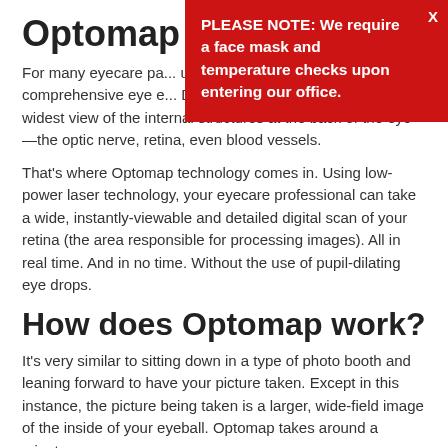Optomap
For many eyecare pa... using eye drops can ... comprehensive eye e... Dilation gives your eye doctor the widest view of the internal structures at the back of the eye—the optic nerve, retina, even blood vessels.
PLEASE NOTE: We require a face mask and temperature checks upon entering our office.
That's where Optomap technology comes in. Using low-power laser technology, your eyecare professional can take a wide, instantly-viewable and detailed digital scan of your retina (the area responsible for processing images). All in real time. And in no time. Without the use of pupil-dilating eye drops.
How does Optomap work?
It's very similar to sitting down in a type of photo booth and leaning forward to have your picture taken. Except in this instance, the picture being taken is a larger, wide-field image of the inside of your eyeball. Optomap takes around a minute.